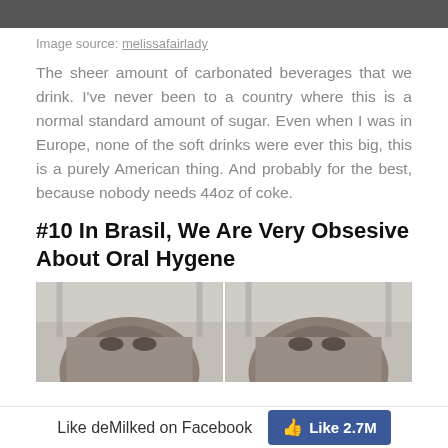[Figure (photo): Cropped top portion of a photo, showing the bottom edge of a person's face/head]
Image source: melissafairlady
The sheer amount of carbonated beverages that we drink. I've never been to a country where this is a normal standard amount of sugar. Even when I was in Europe, none of the soft drinks were ever this big, this is a purely American thing. And probably for the best, because nobody needs 44oz of coke.
#10 In Brasil, We Are Very Obsesive About Oral Hygene
[Figure (photo): Two side-by-side video screenshots of a young woman in a car, dark hair pulled back, taken from a TikTok or similar video]
Like deMilked on Facebook  Like 2.7M